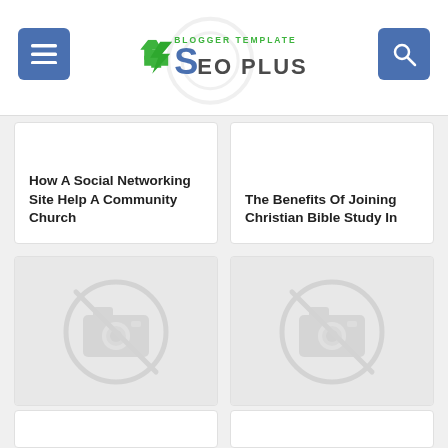SEO PLUS Blogger Template
How A Social Networking Site Help A Community Church
The Benefits Of Joining Christian Bible Study In
[Figure (illustration): No image placeholder icon (camera with slash)]
Based Christian Life Coaching Cleveland
[Figure (illustration): No image placeholder icon (camera with slash)]
Tips To Fight Off Drowsiness While In A Christian Church